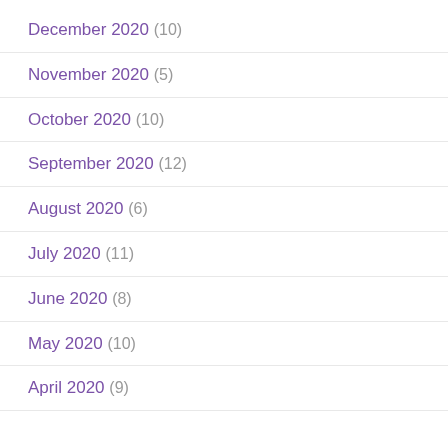December 2020 (10)
November 2020 (5)
October 2020 (10)
September 2020 (12)
August 2020 (6)
July 2020 (11)
June 2020 (8)
May 2020 (10)
April 2020 (9)